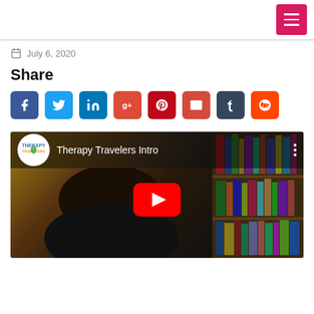Menu button (hamburger icon)
July 6, 2020
Share
[Figure (infographic): Row of social media share buttons: Facebook (blue), Twitter (light blue), LinkedIn (dark blue), Google+ (red-orange), Pinterest (dark red), Email (red), Tumblr (dark slate), Reddit (orange)]
[Figure (screenshot): YouTube video embed thumbnail showing 'Therapy Travelers Intro' with a woman with dark hair in front of a bookshelf, YouTube play button in center, Therapy Travelers channel logo on top left]